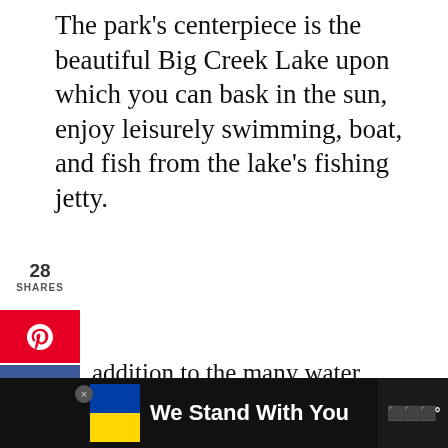The park's centerpiece is the beautiful Big Creek Lake upon which you can bask in the sun, enjoy leisurely swimming, boat, and fish from the lake's fishing jetty.
[Figure (screenshot): Social media share sidebar with Pinterest (red), Facebook (blue), Twitter (cyan), Reddit (orange-red), and Email (gray) buttons stacked vertically on the left side. Share count shows 28 SHARES.]
In addition to the many water activities, the park is a wonderful place to delight in activities like biking, hiking, disc golfing, and a jaunt at the playground.
[Figure (screenshot): Right-side floating widget with teal heart button, 367 count, and share icon.]
Conveniently, boat and bicycle rentals are available at the lake's beach.
[Figure (screenshot): Bottom advertisement banner with dark background, Ukrainian flag, 'We Stand With You' text in bold white, and a logo on the right.]